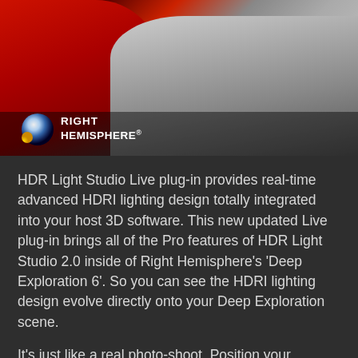[Figure (photo): Two cars — a red SUV on the left and a silver Honda CR-V on the right — on a dark studio background. The Right Hemisphere logo (a metallic sphere) and the text 'RIGHT HEMISPHERE' appear in the lower-left of the image.]
HDR Light Studio Live plug-in provides real-time advanced HDRI lighting design totally integrated into your host 3D software. This new updated Live plug-in brings all of the Pro features of HDR Light Studio 2.0 inside of Right Hemisphere's 'Deep Exploration 6'. So you can see the HDRI lighting design evolve directly onto your Deep Exploration scene.
It's just like a real photo-shoot. Position your camera and light the shot in real-time using studio lighting alone or, new in version 2.0, by adding lighting effects on top of an existing real-world HDRI environment. The